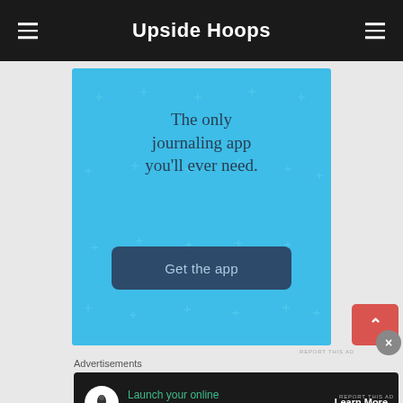Upside Hoops
[Figure (infographic): Blue advertisement banner for a journaling app with star/cross pattern background. Text reads 'The only journaling app you'll ever need.' with a dark blue 'Get the app' button.]
REPORT THIS AD
[Figure (infographic): Dark advertisement banner: circular tree icon, green text 'Launch your online course with WordPress', white 'Learn More' button with underline.]
Advertisements
REPORT THIS AD